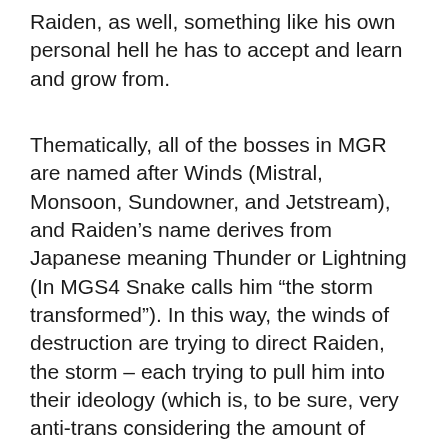Raiden, as well, something like his own personal hell he has to accept and learn and grow from.
Thematically, all of the bosses in MGR are named after Winds (Mistral, Monsoon, Sundowner, and Jetstream), and Raiden’s name derives from Japanese meaning Thunder or Lightning (In MGS4 Snake calls him “the storm transformed”). In this way, the winds of destruction are trying to direct Raiden, the storm – each trying to pull him into their ideology (which is, to be sure, very anti-trans considering the amount of Rules of Nature themes). Raiden stands against them and cuts them down, not letting himself be carried through their storm – at a cost however. The Winds all only refer to Raiden by what amounts to his Dead Name – Jack – and while his dead name is especially complicated, he has discomfort with hearing it. He embraces the name, eventually, and while not all trans people will embrace, accept, or even mention their dead name, it is something that is grappled with. Coming to terms with your past, seeing your past